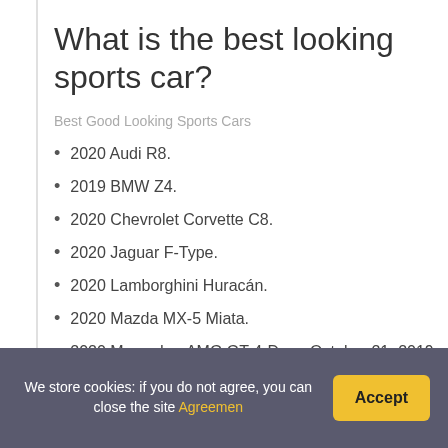What is the best looking sports car?
Best Good Looking Sports Cars
2020 Audi R8.
2019 BMW Z4.
2020 Chevrolet Corvette C8.
2020 Jaguar F-Type.
2020 Lamborghini Huracán.
2020 Mazda MX-5 Miata.
2020 Mercedes-AMG GT 4-Door. October 21, 2019 By
We store cookies: if you do not agree, you can close the site Agreemen